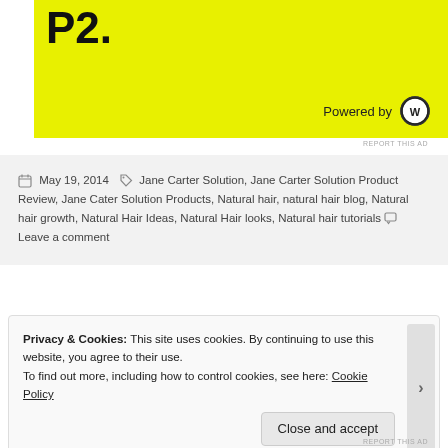[Figure (logo): Yellow advertisement banner showing 'P2.' in large bold black text with 'Powered by WordPress' logo at bottom right]
REPORT THIS AD
May 19, 2014   Jane Carter Solution, Jane Carter Solution Product Review, Jane Cater Solution Products, Natural hair, natural hair blog, Natural hair growth, Natural Hair Ideas, Natural Hair looks, Natural hair tutorials   Leave a comment
Privacy & Cookies: This site uses cookies. By continuing to use this website, you agree to their use.
To find out more, including how to control cookies, see here: Cookie Policy
Close and accept
REPORT THIS AD